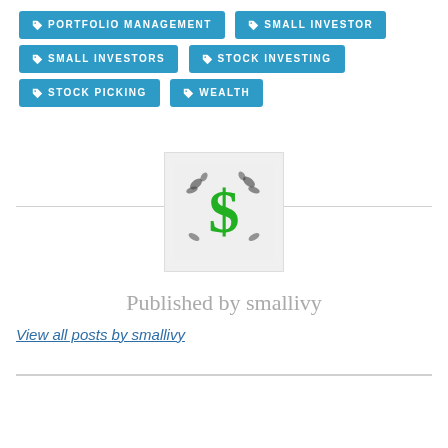PORTFOLIO MANAGEMENT
SMALL INVESTOR
SMALL INVESTORS
STOCK INVESTING
STOCK PICKING
WEALTH
[Figure (illustration): Green dollar sign with butterfly/leaf decorations on light grey background]
Published by smallivy
View all posts by smallivy